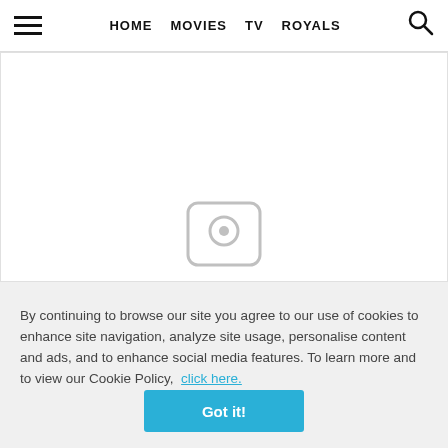HOME  MOVIES  TV  ROYALS
[Figure (screenshot): Large white content area with a faint play/camera icon at the bottom center, representing a media player or image placeholder on a website.]
By continuing to browse our site you agree to our use of cookies to enhance site navigation, analyze site usage, personalise content and ads, and to enhance social media features. To learn more and to view our Cookie Policy,  click here.